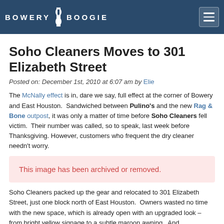BOWERY BOOGIE
Soho Cleaners Moves to 301 Elizabeth Street
Posted on: December 1st, 2010 at 6:07 am by Elie
The McNally effect is in, dare we say, full effect at the corner of Bowery and East Houston.  Sandwiched between Pulino's and the new Rag & Bone outpost, it was only a matter of time before Soho Cleaners fell victim.  Their number was called, so to speak, last week before Thanksgiving. However, customers who frequent the dry cleaner needn't worry.
[Figure (other): This image has been archived or removed.]
Soho Cleaners packed up the gear and relocated to 301 Elizabeth Street, just one block north of East Houston.  Owners wasted no time with the new space, which is already open with an upgraded look – from bright yellow signage to a subtle maroon awning.  And